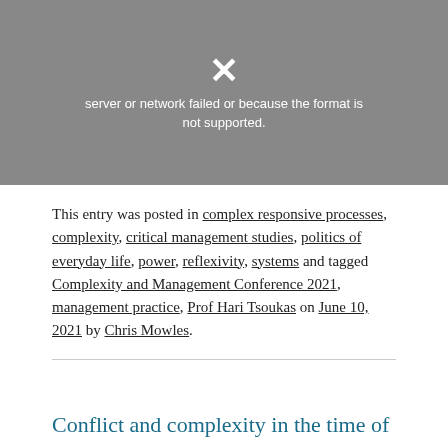[Figure (screenshot): A broken/failed media embed showing a dark gray background with a broken image X icon and the text 'server or network failed or because the format is not supported.']
This entry was posted in complex responsive processes, complexity, critical management studies, politics of everyday life, power, reflexivity, systems and tagged Complexity and Management Conference 2021, management practice, Prof Hari Tsoukas on June 10, 2021 by Chris Mowles.
Conflict and complexity in the time of